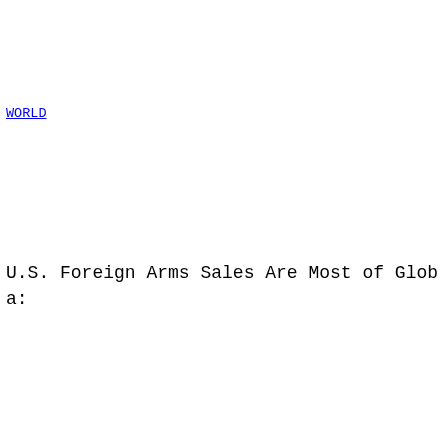<br><span><br></span><div class="greyBackBlackTop">
<a class="black" href="http://mobile.nytimes.com/section,
s=20">
<span class="h1 hl">
WORLD</span></a><br><br>
<a class="black" href="http://mobile.nytimes.com/section,
s=20">
</a>
</div>
<div class="sp kicker">
<div class="aHL">
<font size="4">U.S. Foreign Arms Sales Are Most of Globa:
</div> </div>

<div class="eg" style="width:95%">
<span class="aut"><br>By THOM SHANKER</span><br>
<div class="aut">Published: August 27, 2012
</div>
</div>
<div class="bodycontent ">
<div class="eg"><br></div>
<div style="color: rgb(0, 0, 0); font-
size: 13.3333px; font-family: verdana,helvetica,sans-
serif; background-color: transparent; font-
style: normal;" class="eg">WASHINGTON - Weapons sales by
 2011 to a record high, driven by major arms sales to Pe:
allies concerned about Iran's regional ambitions, accordi:
study for Congress.</div><div class="eg"><br></div>
<div style="color: rgb(0, 0, 0); font-
size: 13.3333px; font-family: verdana,helvetica,sans-
serif; background-color: transparent; font-